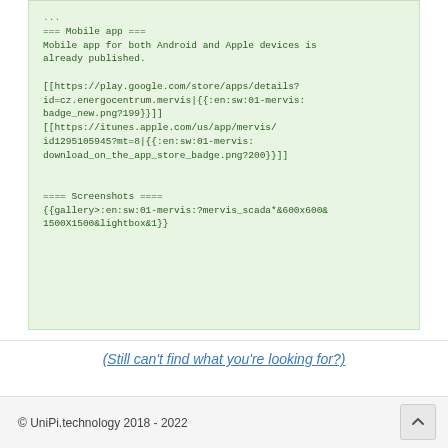=== Mobile app ===
Mobile app for both Android and Apple devices is already published.

[[https://play.google.com/store/apps/details?id=cz.energocentrum.mervis|{{:en:sw:01-mervis:badge_new.png?199}}]]
[[https://itunes.apple.com/us/app/mervis/id1295105945?mt=8|{{:en:sw:01-mervis:download_on_the_app_store_badge.png?200}}]]


==== Screenshots ====
{{gallery>:en:sw:01-mervis:?mervis_scada*&600x600&1500X1500&lightbox&1}}
(Still can't find what you're looking for?)
© UniPi.technology 2018 - 2022